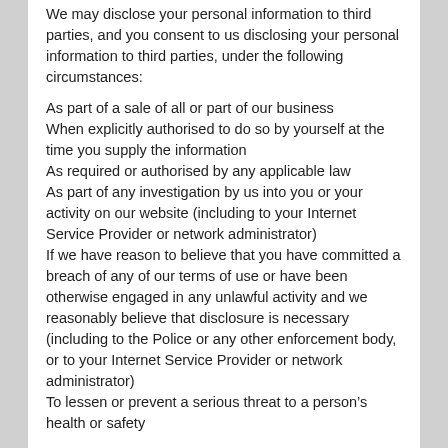We may disclose your personal information to third parties, and you consent to us disclosing your personal information to third parties, under the following circumstances:
As part of a sale of all or part of our business
When explicitly authorised to do so by yourself at the time you supply the information
As required or authorised by any applicable law
As part of any investigation by us into you or your activity on our website (including to your Internet Service Provider or network administrator)
If we have reason to believe that you have committed a breach of any of our terms of use or have been otherwise engaged in any unlawful activity and we reasonably believe that disclosure is necessary (including to the Police or any other enforcement body, or to your Internet Service Provider or network administrator)
To lessen or prevent a serious threat to a person’s health or safety
5. Publishable content
When you submit content to us for publication (including but not limited to comments, testimonials, votes, or forum posts) you assign us a transferrable, perpetual right to publish and/or commercially exploit said content without limitation. You also